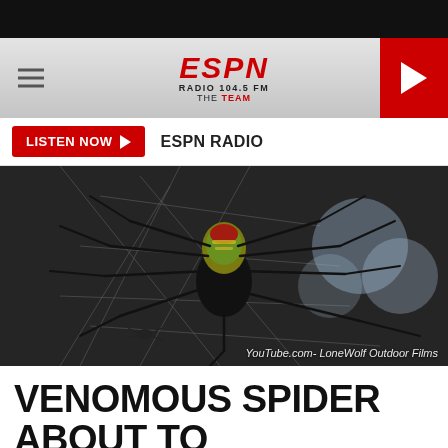[Figure (screenshot): Black bar at top of mobile web page screenshot]
ESPN RADIO 104.5 FM THE TEAM
LISTEN NOW ► ESPN RADIO
[Figure (photo): Close-up photograph of a large spider (Joro spider / golden silk orb-weaver) on its web, with dark background and blurred blue bokeh circles in background. Credit: YouTube.com- LoneWolf Outdoor Films]
YouTube.com- LoneWolf Outdoor Films
VENOMOUS SPIDER ABOUT TO